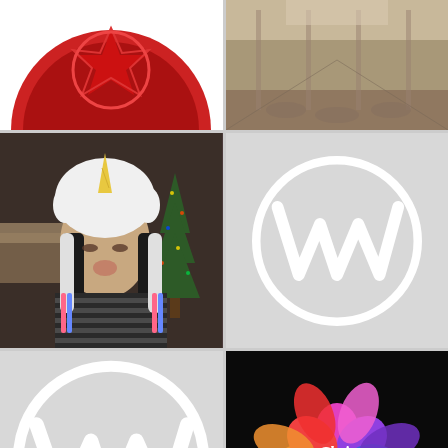[Figure (logo): Red wax seal logo, partial view at top]
[Figure (photo): Interior of a large hall or atrium viewed from above, with tables and people]
[Figure (photo): Young woman wearing a white unicorn knit hat with horn and ears, striped shirt, Christmas tree in background]
[Figure (logo): WordPress logo - white W in a circle on light gray background]
[Figure (logo): WordPress logo - white W in a circle on light gray background, larger version]
[Figure (logo): Colorful rainbow rose with text Chris McHart in white lettering, on black background]